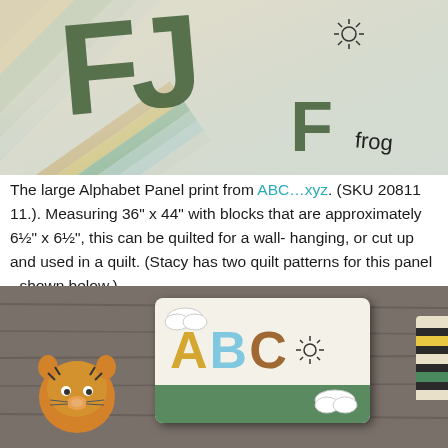[Figure (photo): Close-up photo of a large fabric Alphabet Panel showing the letter F with a crocodile illustration and the word 'frog' with a frog illustration on cream fabric, with colorful striped border fabric visible on the left side.]
The large Alphabet Panel print from ABC…xyz. (SKU 2081111.). Measuring 36" x 44" with blocks that are approximately 6½" x 6½", this can be quilted for a wall-hanging, or cut up and used in a quilt. (Stacy has two quilt patterns for this panel - shown below.)
[Figure (photo): Photo showing ABC fabric book and stuffed animal toys (tiger and crocodile) on a wooden table surface. The book displays colorful A, B, C letters in yellow, blue, and brown with cloud and sun decorations.]